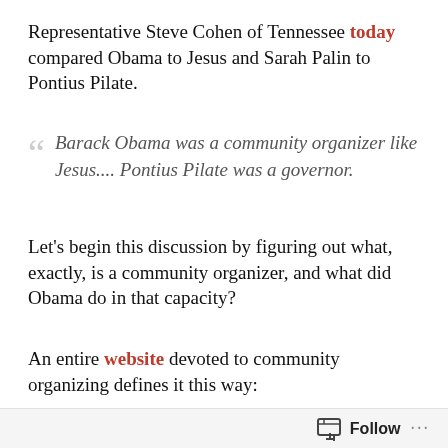Representative Steve Cohen of Tennessee today compared Obama to Jesus and Sarah Palin to Pontius Pilate.
Barack Obama was a community organizer like Jesus.... Pontius Pilate was a governor.
Let's begin this discussion by figuring out what, exactly, is a community organizer, and what did Obama do in that capacity?
An entire website devoted to community organizing defines it this way:
Community organization is that process by which the people...organize themselves to 'take charge' of their situation and thus develop a sense of being a
Follow ...